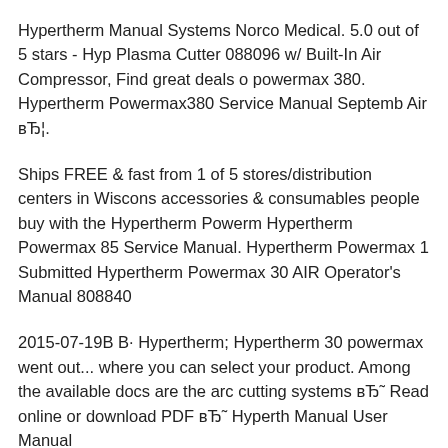Hypertherm Manual Systems Norco Medical. 5.0 out of 5 stars - Hyp Plasma Cutter 088096 w/ Built-In Air Compressor, Find great deals o powermax 380. Hypertherm Powermax380 Service Manual Septemb Air вЂ¦.
Ships FREE & fast from 1 of 5 stores/distribution centers in Wiscons accessories & consumables people buy with the Hypertherm Powerm Hypertherm Powermax 85 Service Manual. Hypertherm Powermax 1 Submitted Hypertherm Powermax 30 AIR Operator's Manual 808840
2015-07-19В В· Hypertherm; Hypertherm 30 powermax went out... where you can select your product. Among the available docs are the arc cutting systems вЂ˜ Read online or download PDF вЂ˜ Hyperth Manual User Manual
Hypertherm Powermax 30 Pdf User Manuals. View online or downlo 30 Service Manual PORTABLE PLASMA CUTTER 27 AMP / 92 V 088096 POWERMAX 30 AIR PLASMA CUTTER NEW - BUILT H Plasma Cutter Service And Repair Manual.